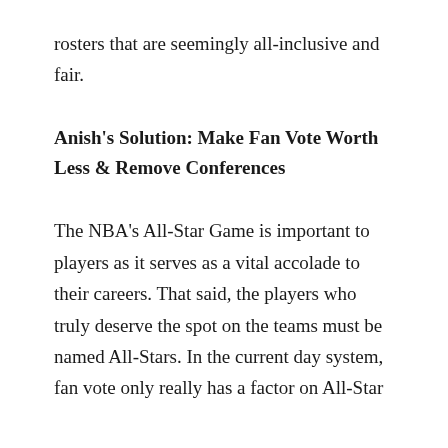rosters that are seemingly all-inclusive and fair.
Anish's Solution: Make Fan Vote Worth Less & Remove Conferences
The NBA's All-Star Game is important to players as it serves as a vital accolade to their careers. That said, the players who truly deserve the spot on the teams must be named All-Stars. In the current day system, fan vote only really has a factor on All-Star